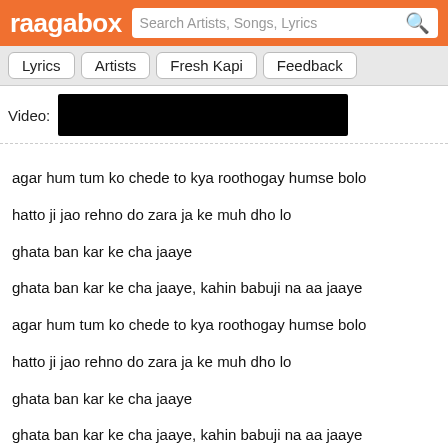raagabox — Search Artists, Songs, Lyrics
Lyrics
Artists
Fresh Kapi
Feedback
Video: [redacted]
agar hum tum ko chede to kya roothogay humse bolo
hatto ji jao rehno do zara ja ke muh dho lo
ghata ban kar ke cha jaaye
ghata ban kar ke cha jaaye, kahin babuji na aa jaaye
agar hum tum ko chede to kya roothogay humse bolo
hatto ji jao rehno do zara ja ke muh dho lo
ghata ban kar ke cha jaaye
ghata ban kar ke cha jaaye, kahin babuji na aa jaaye
agar hum tum ko chede to kya roothogay humse bolo
jaanemann mauka mila hai
dekho kya mausam khila hai
mi hai yu hai aur junoon hai de do dil
ye kaisi ratt lagi hai kya din mein bangh pee hai